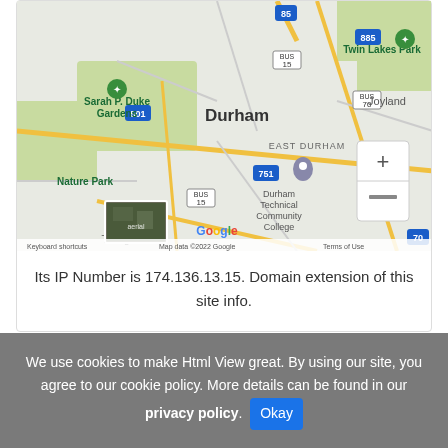[Figure (map): Google Maps screenshot showing Durham, NC area including Sarah P. Duke Gardens, East Durham, Twin Lakes Park, Joyland, Nature Park, Durham Technical Community College, and Triangle Rc area. Map zoom controls (+/-) visible on right side. Google logo and attribution at bottom.]
Its IP Number is 174.136.13.15. Domain extension of this site info.
We use cookies to make Html View great. By using our site, you agree to our cookie policy. More details can be found in our privacy policy. Okay